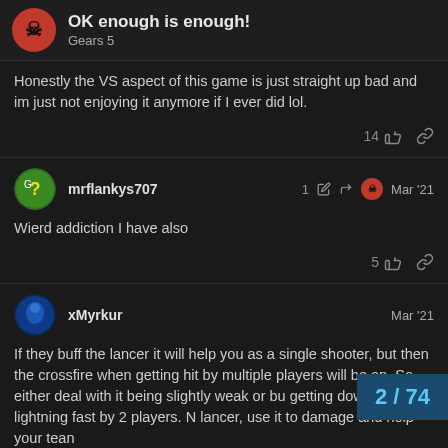OK enough is enough! Gears 5
Honestly the VS aspect of this game is just straight up bad and im just not enjoying it anymore if I ever did lol.
14 👍 🔗
mrflankys707 — 1 ✏️ ↩️ Mar '21
Wierd addiction I have also
5 👍 🔗
xMyrkur — Mar '21
If they buff the lancer it will help you as a single shooter, but then the crossfire when getting hit by multiple players will be op. So either deal with it being slightly weak or bu getting downed lightning fast by 2 players. lancer, use it to damage and help your tean